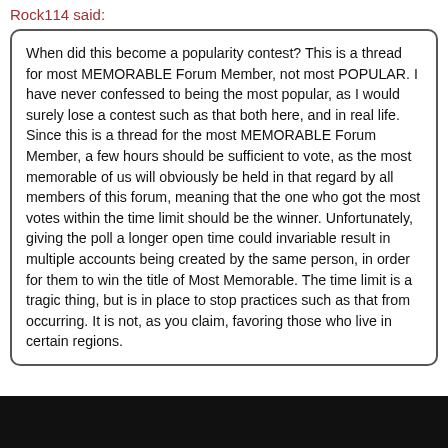Rock114 said:
When did this become a popularity contest? This is a thread for most MEMORABLE Forum Member, not most POPULAR. I have never confessed to being the most popular, as I would surely lose a contest such as that both here, and in real life. Since this is a thread for the most MEMORABLE Forum Member, a few hours should be sufficient to vote, as the most memorable of us will obviously be held in that regard by all members of this forum, meaning that the one who got the most votes within the time limit should be the winner. Unfortunately, giving the poll a longer open time could invariable result in multiple accounts being created by the same person, in order for them to win the title of Most Memorable. The time limit is a tragic thing, but is in place to stop practices such as that from occurring. It is not, as you claim, favoring those who live in certain regions.
no offense, But you were one of the ones who were just there In my view of the old forum. I only remembered you because I remember all sorts of bizarre stuff.
(like the first thing I ever saw being my bellybutton)
JREK